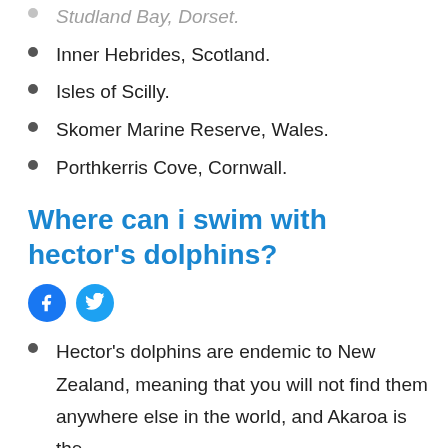Studland Bay, Dorset. (partial/cut off at top)
Inner Hebrides, Scotland.
Isles of Scilly.
Skomer Marine Reserve, Wales.
Porthkerris Cove, Cornwall.
Where can i swim with hector's dolphins?
Hector's dolphins are endemic to New Zealand, meaning that you will not find them anywhere else in the world, and Akaroa is the